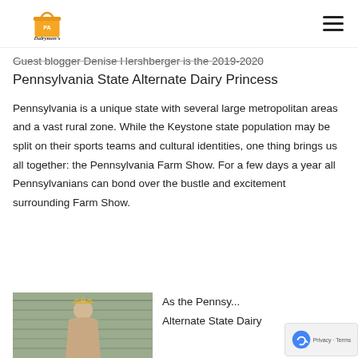PA Dairymen's Association
Guest blogger Denise Hershberger is the 2019-2020 Pennsylvania State Alternate Dairy Princess
Pennsylvania is a unique state with several large metropolitan areas and a vast rural zone. While the Keystone state population may be split on their sports teams and cultural identities, one thing brings us all together: the Pennsylvania Farm Show. For a few days a year all Pennsylvanians can bond over the bustle and excitement surrounding Farm Show.
[Figure (photo): Young woman wearing a crown/tiara, standing in front of a wooden barn wall]
As the Penns... Alternate State Dairy